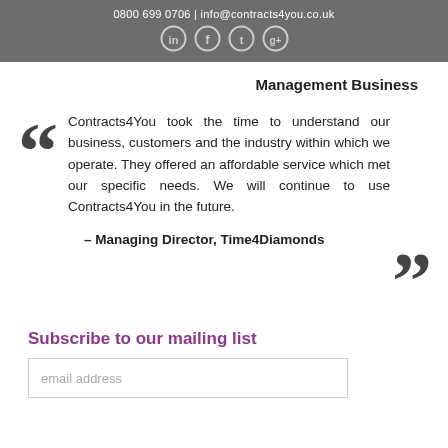0800 699 0706 | info@contracts4you.co.uk
Management Business
Contracts4You took the time to understand our business, customers and the industry within which we operate. They offered an affordable service which met our specific needs. We will continue to use Contracts4You in the future.
– Managing Director, Time4Diamonds
Subscribe to our mailing list
email address